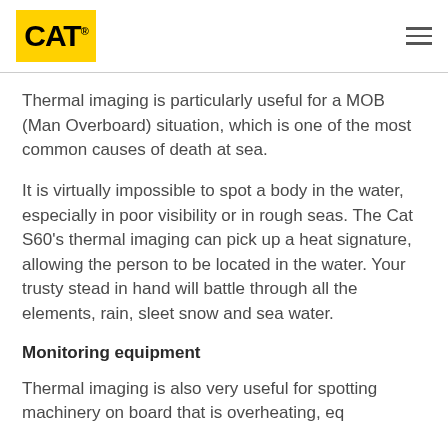CAT (logo) | hamburger menu
Thermal imaging is particularly useful for a MOB (Man Overboard) situation, which is one of the most common causes of death at sea.
It is virtually impossible to spot a body in the water, especially in poor visibility or in rough seas. The Cat S60’s thermal imaging can pick up a heat signature, allowing the person to be located in the water. Your trusty stead in hand will battle through all the elements, rain, sleet snow and sea water.
Monitoring equipment
Thermal imaging is also very useful for spotting machinery on board that is overheating, eq